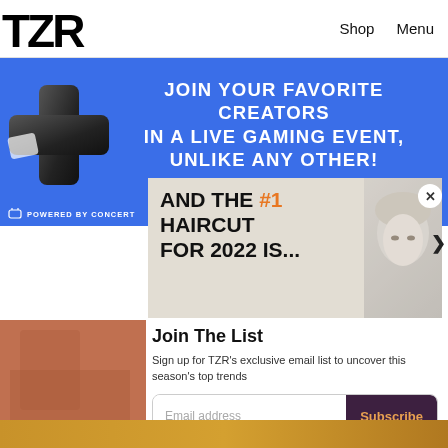TZR | Shop | Menu
[Figure (screenshot): Blue advertisement banner with a black cross controller icon on the left and white bold text reading: JOIN YOUR FAVORITE CREATORS IN A LIVE GAMING EVENT, UNLIKE ANY OTHER! Powered by Concert label at bottom left.]
[Figure (screenshot): Article promo card with beige background showing bold text: AND THE #1 HAIRCUT FOR 2022 IS... with a woman's face on the right side.]
Join The List
Sign up for TZR's exclusive email list to uncover this season's top trends
[Figure (photo): Brown/tan colored thumbnail on the left side, partial view of jewelry or accessories below.]